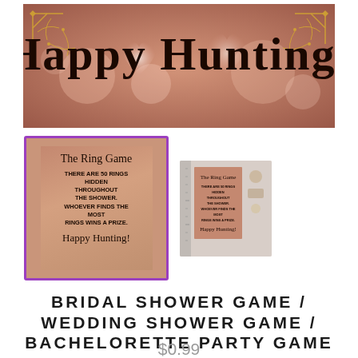[Figure (photo): Banner image with rose/mauve bokeh bokeh background with heart light shapes and gold decorative corners. Script text 'Happy Hunting!' in black cursive at top center.]
[Figure (photo): Two thumbnail images side by side: left thumbnail (selected, purple border) shows 'The Ring Game' card with bokeh rose background; right thumbnail shows same card placed on a flat-lay surface.]
BRIDAL SHOWER GAME / WEDDING SHOWER GAME / BACHELORETTE PARTY GAME
$0.99